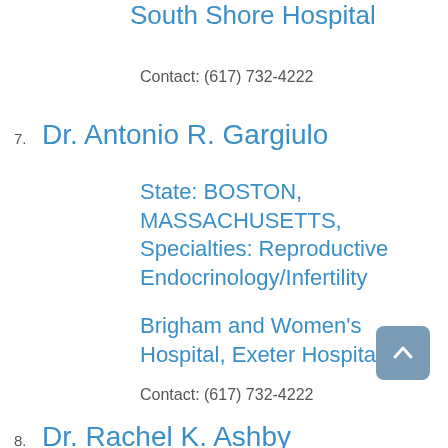South Shore Hospital
Contact: (617) 732-4222
7. Dr. Antonio R. Gargiulo
State: BOSTON, MASSACHUSETTS, Specialties: Reproductive Endocrinology/Infertility
Brigham and Women's Hospital, Exeter Hospital
Contact: (617) 732-4222
8. Dr. Rachel K. Ashby